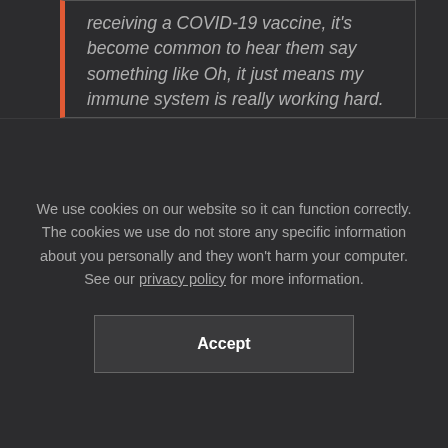receiving a COVID-19 vaccine, it's become common to hear them say something like Oh, it just means my immune system is really working hard. On the flip side, when people don't notice any side effects, they sometimes worry the shot isn't doing its job or their immune system isn't reacting at all.
We use cookies on our website so it can function correctly. The cookies we use do not store any specific information about you personally and they won't harm your computer. See our privacy policy for more information.
Accept